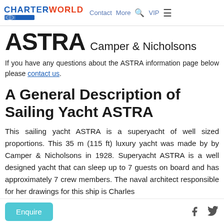CHARTERWORLD | Contact | More | VIP
ASTRA Camper & Nicholsons
If you have any questions about the ASTRA information page below please contact us.
A General Description of Sailing Yacht ASTRA
This sailing yacht ASTRA is a superyacht of well sized proportions. This 35 m (115 ft) luxury yacht was made by by Camper & Nicholsons in 1928. Superyacht ASTRA is a well designed yacht that can sleep up to 7 guests on board and has approximately 7 crew members. The naval architect responsible for her drawings for this ship is Charles